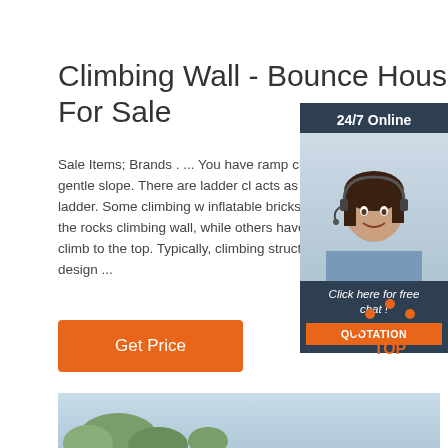Climbing Wall - Bounce Houses For Sale
Sale Items; Brands . ... You have ramp climb resemble a gentle slope. There are ladder cl acts as an inflatable ladder. Some climbing w inflatable bricks that are acting like the rocks climbing wall, while others have indentations climb to the top. Typically, climbing structures the brick design ...
[Figure (other): Chat widget with woman wearing headset, '24/7 Online' text, 'Click here for free chat!' text, and orange QUOTATION button on dark blue background]
[Figure (other): Orange 'Get Price' button]
[Figure (other): Orange dots arranged in arc with TOP text below in orange on white background]
[Figure (photo): Bottom strip showing outdoor scene with plants/trees against light blue sky]